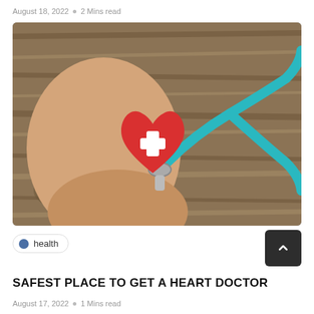August 18, 2022  o  2 Mins read
[Figure (photo): Hands holding a red heart with a white cross symbol and a stethoscope on a wooden background]
health
SAFEST PLACE TO GET A HEART DOCTOR
August 17, 2022  o  1 Mins read